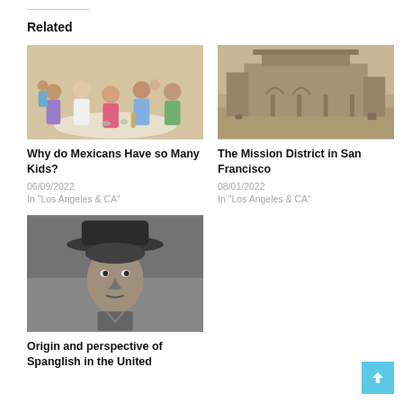Related
[Figure (photo): Family group photo outdoors around a table, colorful clothing]
Why do Mexicans Have so Many Kids?
06/09/2022
In "Los Angeles & CA"
[Figure (photo): Historic black and white photograph of the Mission District in San Francisco, showing a large building]
The Mission District in San Francisco
08/01/2022
In "Los Angeles & CA"
[Figure (photo): Black and white portrait photograph of a young person wearing a hat]
Origin and perspective of Spanglish in the United